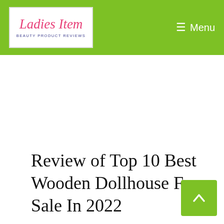Ladies Item – Beauty Product Reviews | Menu
Review of Top 10 Best Wooden Dollhouse For Sale In 2022